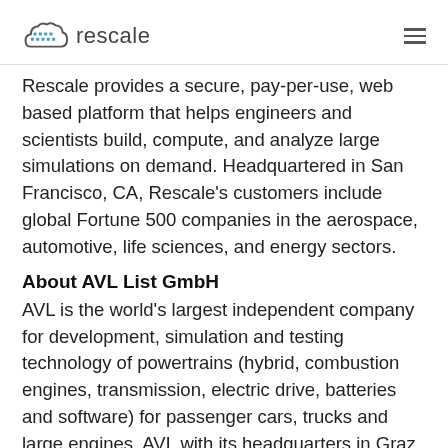rescale
Rescale provides a secure, pay-per-use, web based platform that helps engineers and scientists build, compute, and analyze large simulations on demand. Headquartered in San Francisco, CA, Rescale's customers include global Fortune 500 companies in the aerospace, automotive, life sciences, and energy sectors.
About AVL List GmbH
AVL is the world's largest independent company for development, simulation and testing technology of powertrains (hybrid, combustion engines, transmission, electric drive, batteries and software) for passenger cars, trucks and large engines. AVL with its headquarters in Graz, Austria has 45 affiliates and more than 6600